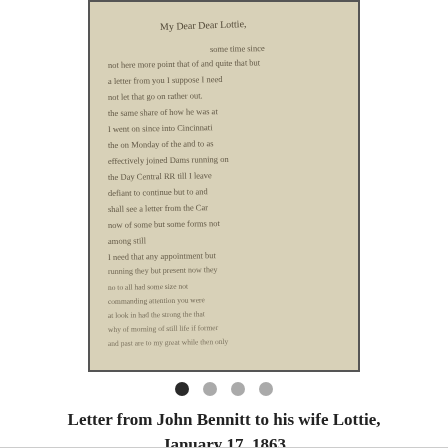[Figure (photo): Scanned handwritten letter page showing cursive script on aged paper, partially legible. The letter begins with 'My Dear Dear Lottie' and contains several lines of 19th century cursive handwriting, difficult to fully transcribe.]
Letter from John Bennitt to his wife Lottie, January 17, 1863